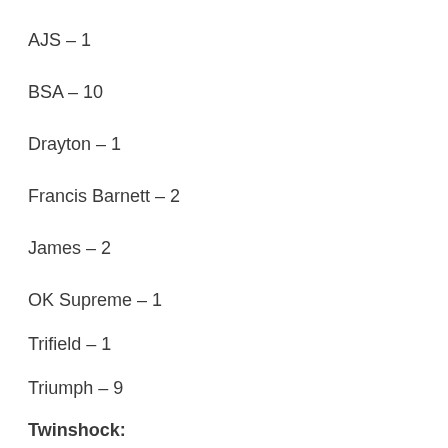AJS – 1
BSA – 10
Drayton – 1
Francis Barnett – 2
James – 2
OK Supreme – 1
Trifield – 1
Triumph – 9
Twinshock: